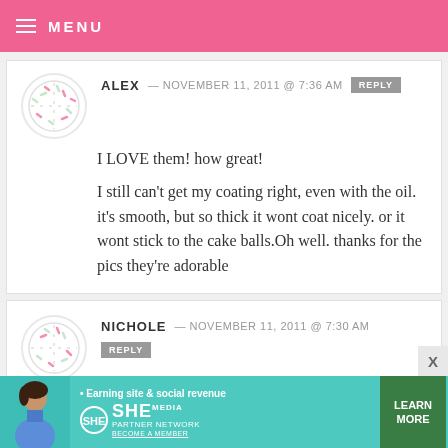MENU
ALEX — NOVEMBER 11, 2011 @ 7:36 AM  REPLY
I LOVE them! how great!
I still can't get my coating right, even with the oil. it's smooth, but so thick it wont coat nicely. or it wont stick to the cake balls.Oh well. thanks for the pics they're adorable
NICHOLE — NOVEMBER 11, 2011 @ 7:30 AM  REPLY
You are SO talented!! I love them! I just
[Figure (infographic): Ad banner for SHE Partner Network — Earning site & social revenue, with LEARN MORE button]